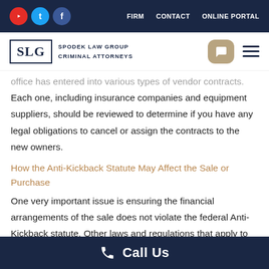FIRM  CONTACT  ONLINE PORTAL
[Figure (logo): SLG Spodek Law Group Criminal Attorneys logo with social icons and hamburger menu]
office has entered into various types of vendor contracts. Each one, including insurance companies and equipment suppliers, should be reviewed to determine if you have any legal obligations to cancel or assign the contracts to the new owners.
How the Anti-Kickback Statute May Affect the Sale or Purchase
One very important issue is ensuring the financial arrangements of the sale does not violate the federal Anti-Kickback statute. Other laws and regulations that apply to
Call Us